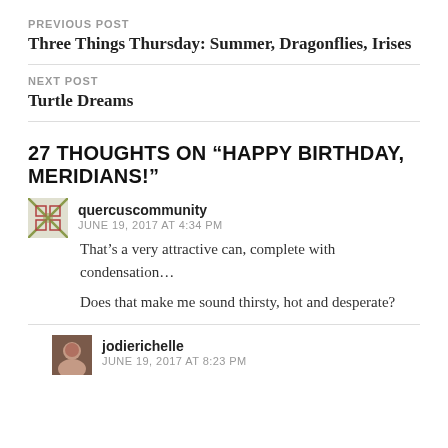PREVIOUS POST
Three Things Thursday: Summer, Dragonflies, Irises
NEXT POST
Turtle Dreams
27 THOUGHTS ON “HAPPY BIRTHDAY, MERIDIANS!”
quercuscommunity
JUNE 19, 2017 AT 4:34 PM
That’s a very attractive can, complete with condensation…
Does that make me sound thirsty, hot and desperate?
jodierichelle
JUNE 19, 2017 AT 8:23 PM